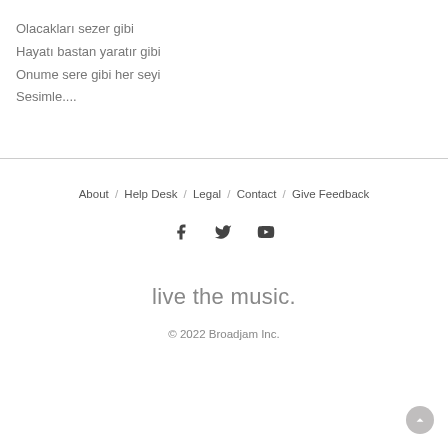Olacakları sezer gibi
Hayatı bastan yaratır gibi
Onume sere gibi her seyi
Sesimle....
About / Help Desk / Legal / Contact / Give Feedback
Social icons: Facebook, Twitter, YouTube
live the music.
© 2022 Broadjam Inc.